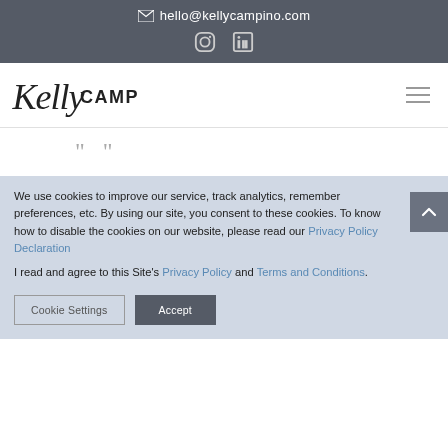✉ hello@kellycampino.com
[Figure (logo): KellyCAMPINO logo with script and uppercase text, hamburger menu icon on right]
[Figure (other): Quotation marks partially visible]
We use cookies to improve our service, track analytics, remember preferences, etc. By using our site, you consent to these cookies. To know how to disable the cookies on our website, please read our Privacy Policy Declaration
I read and agree to this Site's Privacy Policy and Terms and Conditions.
Cookie Settings   Accept